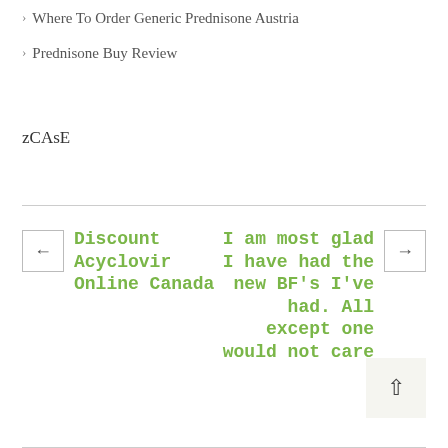Where To Order Generic Prednisone Austria
Prednisone Buy Review
zCAsE
Discount Acyclovir Online Canada
I am most glad I have had the new BF's I've had. All except one would not care